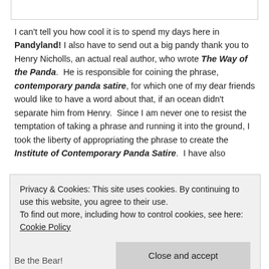I can't tell you how cool it is to spend my days here in Pandyland! I also have to send out a big pandy thank you to Henry Nicholls, an actual real author, who wrote The Way of the Panda. He is responsible for coining the phrase, contemporary panda satire, for which one of my dear friends would like to have a word about that, if an ocean didn't separate him from Henry. Since I am never one to resist the temptation of taking a phrase and running it into the ground, I took the liberty of appropriating the phrase to create the Institute of Contemporary Panda Satire. I have also
Privacy & Cookies: This site uses cookies. By continuing to use this website, you agree to their use.
To find out more, including how to control cookies, see here: Cookie Policy
Be the Bear!